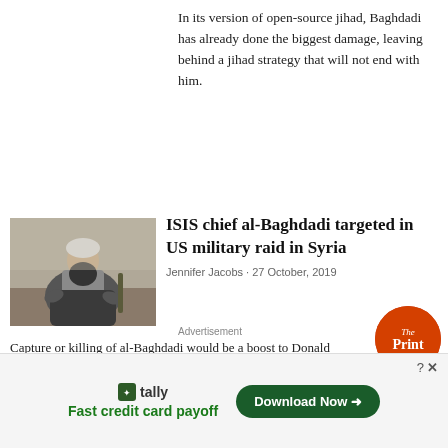In its version of open-source jihad, Baghdadi has already done the biggest damage, leaving behind a jihad strategy that will not end with him.
[Figure (photo): Photo of al-Baghdadi seated, wearing white robe and vest, with a weapon visible.]
ISIS chief al-Baghdadi targeted in US military raid in Syria
Jennifer Jacobs · 27 October, 2019
Capture or killing of al-Baghdadi would be a boost to Donald Trump, who has faced relentless criticism after he said he would pull US forces back from
[Figure (logo): The Print circular logo in orange-red]
Advertisement
tally Fast credit card payoff
Download Now →